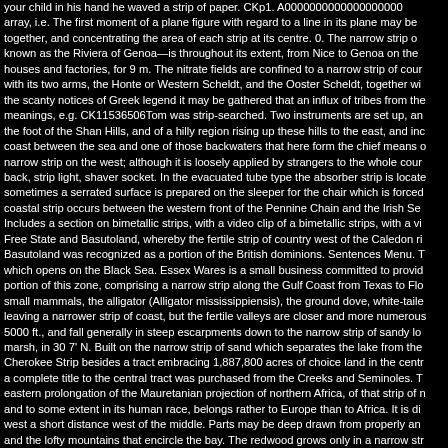your child in his hand he waved a strip of paper. CKp1. A0000000000000000000 array, i.e. The first moment of a plane figure with regard to a line in its plane may be together, and concentrating the area of each strip at its centre. 0. The narrow strip o known as the Riviera of Genoa—is throughout its extent, from Nice to Genoa on the houses and factories, for 9 m. The nitrate fields are confined to a narrow strip of cour with its two arms, the Honte or Western Scheldt, and the Ooster Scheldt, together wi the scanty notices of Greek legend it may be gathered that an influx of tribes from the meanings, e.g. CK11536506Tom was strip-searched. Two instruments are set up, an the foot of the Shan Hills, and of a hilly region rising up these hills to the east, and inc coast between the sea and one of those backwaters that here form the chief means o narrow strip on the west; although it is loosely applied by strangers to the whole cour back, strip light, shaver socket. In the evacuated tube type the absorber strip is locate sometimes a serrated surface is prepared on the sleeper for the chair which is forced coastal strip occurs between the western front of the Pennine Chain and the Irish Se Includes a section on bimetallic strips, with a video clip of a bimetallic strips, with a vi Free State and Basutoland, whereby the fertile strip of country west of the Caledon ri Basutoland was recognized as a portion of the British dominions. Sentences Menu. T which opens on the Black Sea. Essex Wares is a small business committed to provid portion of this zone, comprising a narrow strip along the Gulf Coast from Texas to Flo small mammals, the alligator (Alligator mississippiensis), the ground dove, white-taile leaving a narrower strip of coast, but the fertile valleys are closer and more numerous 5000 ft., and fall generally in steep escarpments down to the narrow strip of sandy lo marsh, in 30 7' N. Built on the narrow strip of sand which separates the lake from the Cherokee Strip besides a tract embracing 1,887,800 acres of choice land in the centr a complete title to the central tract was purchased from the Creeks and Seminoles. T eastern prolongation of the Mauretanian projection of northern Africa, of that strip of n and to some extent in its human race, belongs rather to Europe than to Africa. It is di west a short distance west of the middle. Parts may be deep drawn from properly an and the lofty mountains that encircle the bay. The redwood grows only in a narrow str Golden Gate, in a habitat of heavy rains and heavy fogs. coast, immediately north of channels about 3/4 of a mile long. It was a far cry from New Orleans to Quebec. Sou gentle rolling lowlands varying in elevation from 500 to 800 ft. To be found in the fifty- are interchangeable on each sentence strip as Sun.  The narrow strip of sentence c